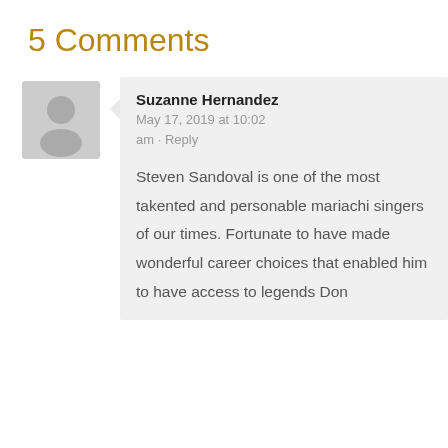5 Comments
Suzanne Hernandez
May 17, 2019 at 10:02 am · Reply
Steven Sandoval is one of the most takented and personable mariachi singers of our times. Fortunate to have made wonderful career choices that enabled him to have access to legends Don